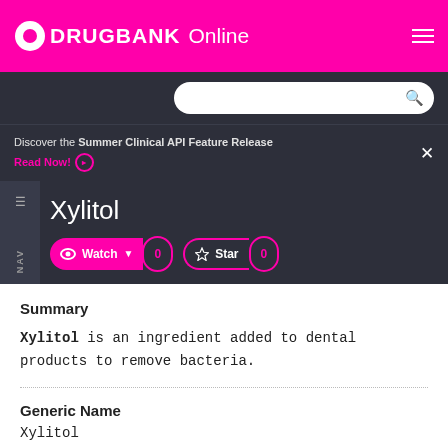DRUGBANK Online
Discover the Summer Clinical API Feature Release Read Now!
Xylitol
Summary
Xylitol is an ingredient added to dental products to remove bacteria.
Generic Name
Xylitol